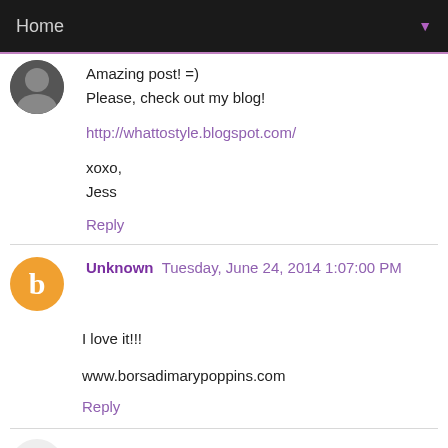Home
Amazing post! =)
Please, check out my blog!

http://whattostyle.blogspot.com/

xoxo,
Jess
Reply
Unknown  Tuesday, June 24, 2014 1:07:00 PM
I love it!!!

www.borsadimarypoppins.com
Reply
BEAUTYEDITOR.COM – Beauty Blog  Tuesday, June 24